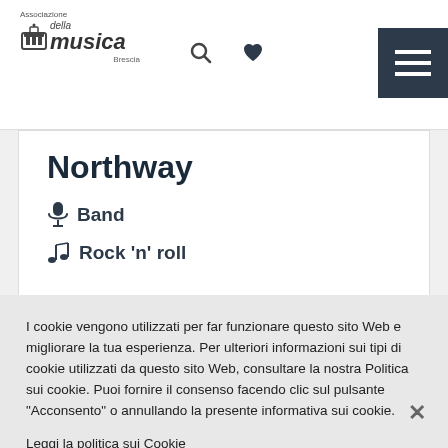Associazione festa della musica Brescia
Northway
🎤 Band
🎵 Rock 'n' roll
I cookie vengono utilizzati per far funzionare questo sito Web e migliorare la tua esperienza. Per ulteriori informazioni sui tipi di cookie utilizzati da questo sito Web, consultare la nostra Politica sui cookie. Puoi fornire il consenso facendo clic sul pulsante "Acconsento" o annullando la presente informativa sui cookie.
Leggi la politica sui Cookie
Accetto
Gestisci i Cookies